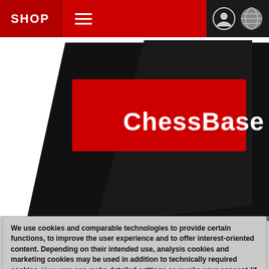SHOP
[Figure (logo): ChessBase logo on red background with black angled shape/book]
Kramnik and Grischuk analysing after their game
Svidler–Morozevich was the game to follow and the one you
We use cookies and comparable technologies to provide certain functions, to improve the user experience and to offer interest-oriented content. Depending on their intended use, analysis cookies and marketing cookies may be used in addition to technically required cookies. Here you can make detailed settings or revoke your consent (if necessary partially) with effect for the future. Further information can be found in our data protection declaration.